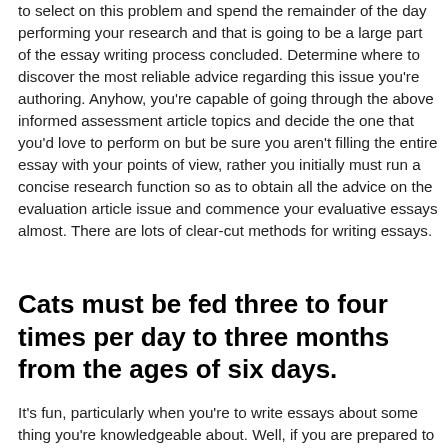to select on this problem and spend the remainder of the day performing your research and that is going to be a large part of the essay writing process concluded. Determine where to discover the most reliable advice regarding this issue you're authoring. Anyhow, you're capable of going through the above informed assessment article topics and decide the one that you'd love to perform on but be sure you aren't filling the entire essay with your points of view, rather you initially must run a concise research function so as to obtain all the advice on the evaluation article issue and commence your evaluative essays almost. There are lots of clear-cut methods for writing essays.
Cats must be fed three to four times per day to three months from the ages of six days.
It's fun, particularly when you're to write essays about some thing you're knowledgeable about. Well, if you are prepared to